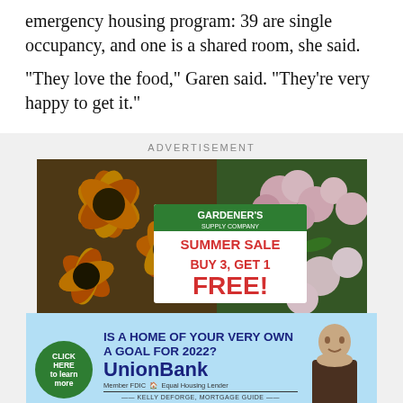emergency housing program: 39 are single occupancy, and one is a shared room, she said.
“They love the food,” Garen said. “They’re very happy to get it.”
ADVERTISEMENT
[Figure (photo): Gardener's Supply Company Summer Sale advertisement showing orange and pink flowers with text: BUY 3, GET 1 FREE!]
[Figure (photo): Union Bank advertisement: IS A HOME OF YOUR VERY OWN A GOAL FOR 2022? UnionBank. Member FDIC Equal Housing Lender. Kelly DeForse, Mortgage Guide. Click Here to learn more.]